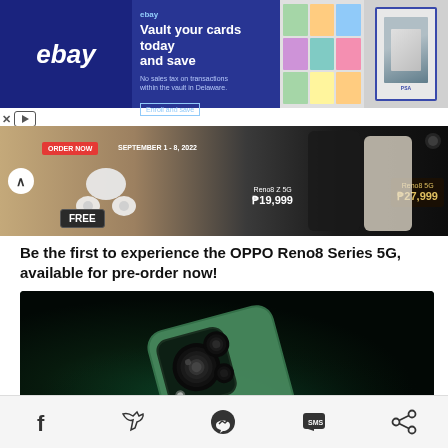[Figure (screenshot): eBay advertisement banner: 'Vault your cards today and save. No sales tax on transactions within the vault in Delaware. Enroll and save.' with trading card images on the right.]
[Figure (screenshot): OPPO Reno8 Series pre-order banner with ORDER NOW button, September 1-8 2022 dates, FREE earbuds offer, Reno8 Z 5G at ₱19,999 and Reno8 5G at ₱27,999.]
Be the first to experience the OPPO Reno8 Series 5G, available for pre-order now!
[Figure (photo): OnePlus 10T 5G smartphone rear camera module shown against dark teal/green background, showing triple camera setup with large circular lens.]
OnePlus 10T 5G arrives in the Philippines, Priced at Php35,990!
Social share footer with Facebook, Twitter, Messenger, SMS, and Share icons